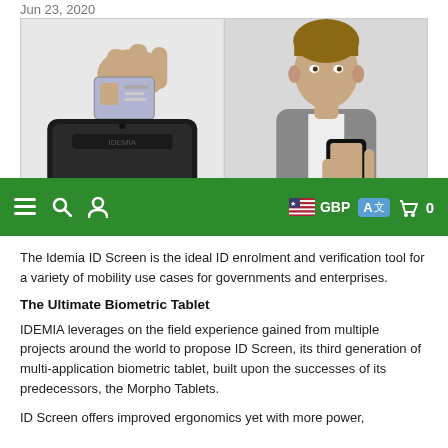Jun 23, 2020
[Figure (photo): Two-panel image: left panel shows a hand using a fingerprint scanner/tablet device with an ID card; right panel shows a man holding a smartphone up to his face for biometric verification.]
[Figure (screenshot): Website navigation bar with green background, hamburger menu, search icon, user icon on left; US flag GBP currency selector, translate button (A文), shopping bag and 0 cart count on right.]
The Idemia ID Screen is the ideal ID enrolment and verification tool for a variety of mobility use cases for governments and enterprises.
The Ultimate Biometric Tablet
IDEMIA leverages on the field experience gained from multiple projects around the world to propose ID Screen, its third generation of multi-application biometric tablet, built upon the successes of its predecessors, the Morpho Tablets.
ID Screen offers improved ergonomics yet with more power,